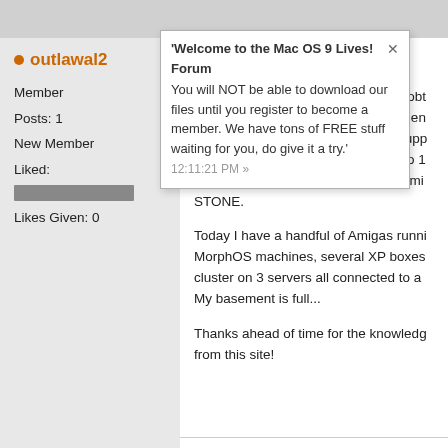[Figure (screenshot): Forum tooltip/popup showing welcome message: 'Welcome to the Mac OS 9 Lives! Forum You will NOT be able to download our files until you register to become a member. We have tons of FREE stuff waiting for you, do give it a try.']
outlawal2
Member
Posts: 1
New Member
Liked:
Likes Given: 0
Good afternoon!

Longtime AMIGA guy here that has obtained... was time to add some Apple equipment... I am a Windows guy by trade and supp... Windows from 2000 all the way up to 1... 12 with a Commodore 64, then an Amig... STONE.

Today I have a handful of Amigas runni... MorphOS machines, several XP boxes... cluster on 3 servers all connected to a... My basement is full...

Thanks ahead of time for the knowledg... from this site!